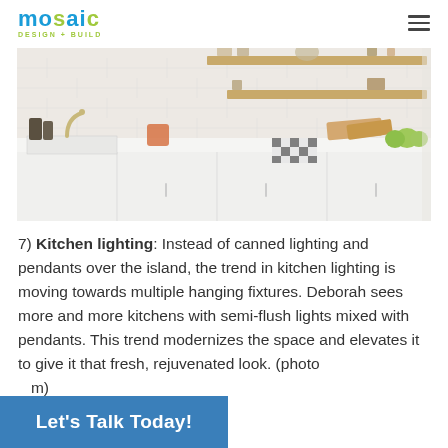mosaic DESIGN + BUILD
[Figure (photo): Bright white kitchen interior with subway tile backsplash, open wooden shelves with dishes and plants, farmhouse sink with gold faucet, white cabinetry, cutting boards, a bowl of green fruits, and a black and white checkered dish towel on the counter.]
7) Kitchen lighting: Instead of canned lighting and pendants over the island, the trend in kitchen lighting is moving towards multiple hanging fixtures. Deborah sees more and more kitchens with semi-flush lights mixed with pendants. This trend modernizes the space and elevates it to give it that fresh, rejuvenated look. (photo ...m)
Let's Talk Today!